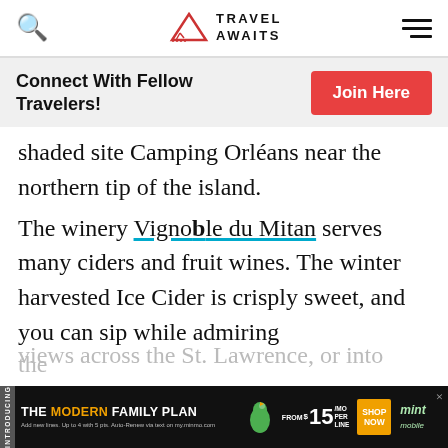Travel Awaits (navigation bar with search icon and menu)
Connect With Fellow Travelers!
shaded site Camping Orléans near the northern tip of the island.
The winery Vignoble du Mitan serves many ciders and fruit wines. The winter harvested Ice Cider is crisply sweet, and you can sip while admiring views across the St. Lawrence, or into the
[Figure (other): Mint Mobile advertisement banner: 'INTRODUCING THE MODERN FAMILY PLAN FROM $15/MO PER LINE SHOP NOW' with mint mobile logo and bird graphic]